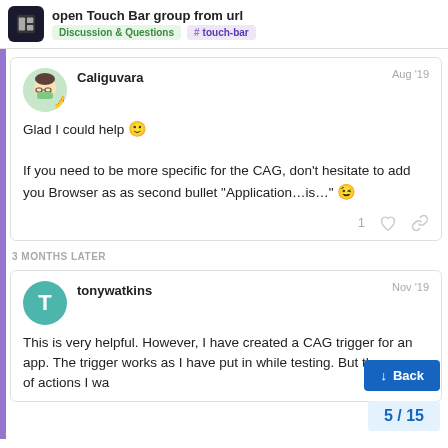open Touch Bar group from url — Discussion & Questions #touch-bar
Caliguvara  Aug '19
Glad I could help 🙂
If you need to be more specific for the CAG, don't hesitate to add you Browser as as second bullet "Application…is…" 😉
3 MONTHS LATER
tonywatkins  Nov '19
This is very helpful. However, I have created a CAG trigger for an app. The trigger works as I have put in while testing. But the group of actions I wa
5 / 15